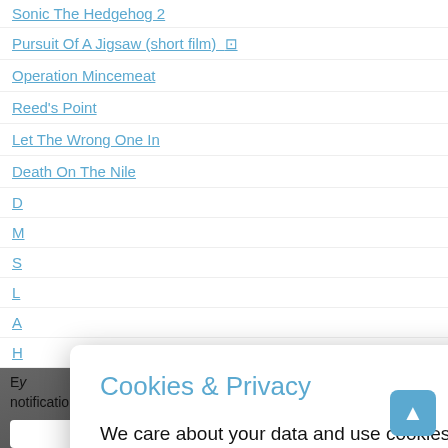Sonic The Hedgehog 2 ★★★☆☆
Pursuit Of A Jigsaw (short film) 🎬 ★★★★☆
Operation Mincemeat ★★★★☆
Reed's Point ★★☆☆☆
Let The Wrong One In ★★★½☆
Death On The Nile ★★★½☆
Cookies & Privacy
We care about your data and use cookies to personalise your experience of this website and to anonymously tell us which parts of our website people have visited. More information
notifications of new reviews by email.